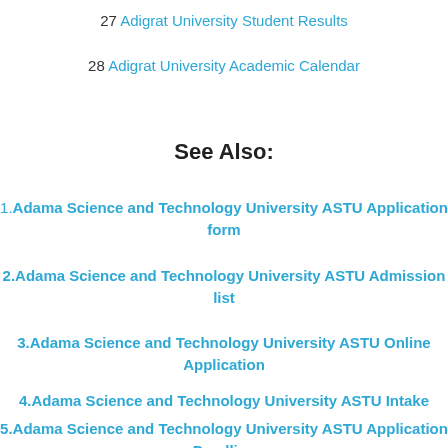27 Adigrat University Student Results
28 Adigrat University Academic Calendar
See Also:
1.Adama Science and Technology University ASTU Application form
2.Adama Science and Technology University ASTU Admission list
3.Adama Science and Technology University ASTU Online Application
4.Adama Science and Technology University ASTU Intake
5.Adama Science and Technology University ASTU Application Deadline